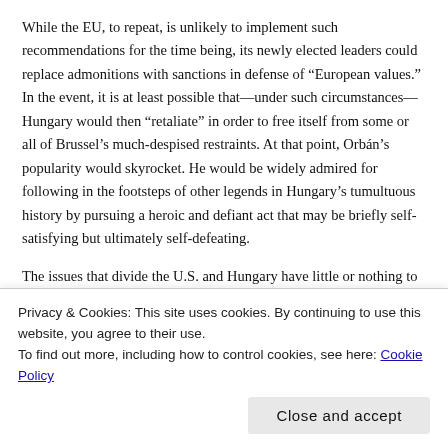While the EU, to repeat, is unlikely to implement such recommendations for the time being, its newly elected leaders could replace admonitions with sanctions in defense of “European values.” In the event, it is at least possible that—under such circumstances—Hungary would then “retaliate” in order to free itself from some or all of Brussel’s much-despised restraints. At that point, Orbán’s popularity would skyrocket. He would be widely admired for following in the footsteps of other legends in Hungary’s tumultuous history by pursuing a heroic and defiant act that may be briefly self-satisfying but ultimately self-defeating.
The issues that divide the U.S. and Hungary have little or nothing to do with security or economics. Hungary is not a particularly active member of NATO, though it sent troops to Afghanistan, and it has
Privacy & Cookies: This site uses cookies. By continuing to use this website, you agree to their use.
To find out more, including how to control cookies, see here: Cookie Policy
Close and accept